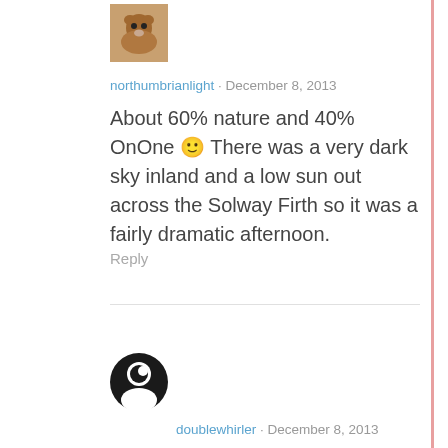[Figure (photo): Small avatar image of a bear-like profile picture, brownish tones]
northumbrianlight · December 8, 2013
About 60% nature and 40% OnOne 🙂 There was a very dark sky inland and a low sun out across the Solway Firth so it was a fairly dramatic afternoon.
Reply
[Figure (photo): Small circular avatar with a silhouette of a person with dark background]
doublewhirler · December 8, 2013